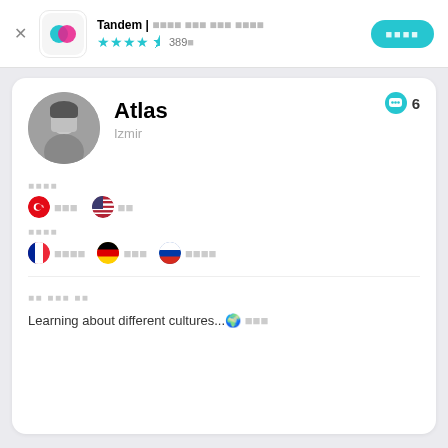Tandem | 언어 교환 파트너 찾기 ★★★★½ 389개
[Figure (screenshot): Tandem app profile page showing user Atlas from Izmir with language information]
Atlas
Izmir
사용 언어 🇹🇷 터키어  🇺🇸 영어
학습 언어 🇫🇷 프랑스어  🇩🇪 독일어  🇷🇺 러시아어
나에 대해 소개
Learning about different cultures...🌍 이외